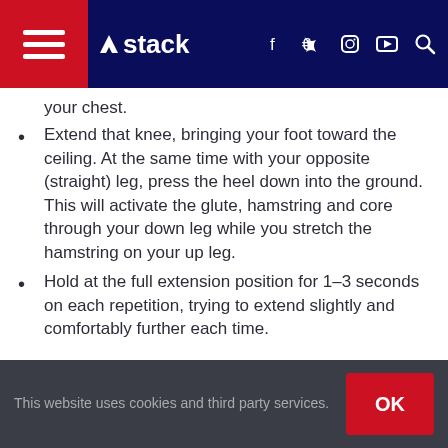Stack — navigation bar with hamburger menu, logo, social icons, search
your chest.
Extend that knee, bringing your foot toward the ceiling. At the same time with your opposite (straight) leg, press the heel down into the ground. This will activate the glute, hamstring and core through your down leg while you stretch the hamstring on your up leg.
Hold at the full extension position for 1–3 seconds on each repetition, trying to extend slightly and comfortably further each time.
How to use it
This is a great active stretch to use prior to any activity,
This website uses cookies and third party services. OK